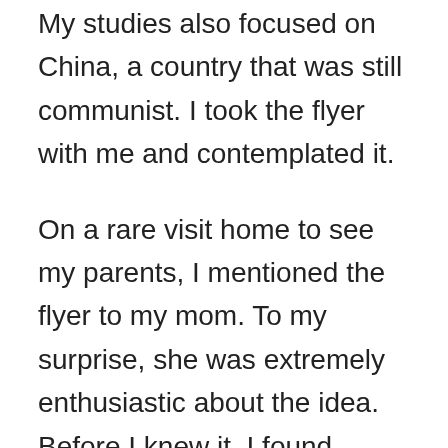My studies also focused on China, a country that was still communist. I took the flyer with me and contemplated it.
On a rare visit home to see my parents, I mentioned the flyer to my mom. To my surprise, she was extremely enthusiastic about the idea. Before I knew it, I found myself signing up and with a ticket to Europe paid for by my parents. We flew to Prague, Czech Republic, as a student group, and there I found friends immediately. Our stay in Prague was only two days, but we did a whirlwind